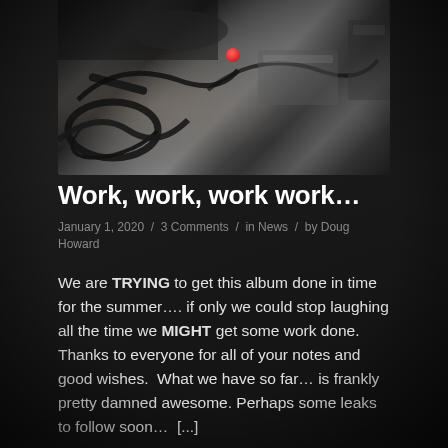[Figure (photo): Close-up photo of audio/recording equipment cables and devices on a dark surface with a visible red button]
Work, work, work work…
January 1, 2020 / 3 Comments / in News / by Doug Howard
We are TRYING to get this album done in time for the summer…. if only we could stop laughing all the time we MIGHT get some work done. Thanks to everyone for all of your notes and good wishes.  What we have so far… is frankly pretty damned awesome. Perhaps some leaks to follow soon…  [...]
Read more → >